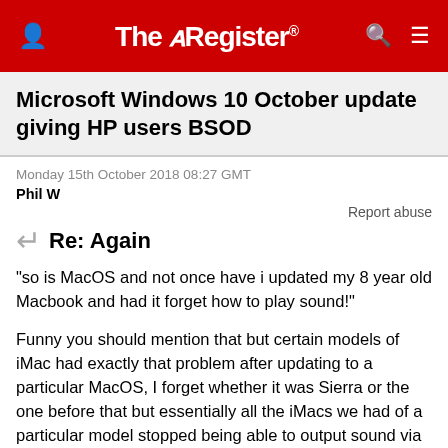The Register
Microsoft Windows 10 October update giving HP users BSOD
Monday 15th October 2018 08:27 GMT
Phil W
Report abuse
Re: Again
"so is MacOS and not once have i updated my 8 year old Macbook and had it forget how to play sound!"
Funny you should mention that but certain models of iMac had exactly that problem after updating to a particular MacOS, I forget whether it was Sierra or the one before that but essentially all the iMacs we had of a particular model stopped being able to output sound via the internal speakers following the